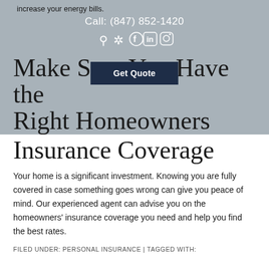increase your energy bills.
Call: (847) 852-1420
[Figure (other): Social media icons: location pin, Yelp, Facebook, LinkedIn, Instagram]
Make Sure You Have the Right Homeowners Insurance Coverage
[Figure (other): Get Quote button overlay]
Your home is a significant investment. Knowing you are fully covered in case something goes wrong can give you peace of mind. Our experienced agent can advise you on the homeowners' insurance coverage you need and help you find the best rates.
FILED UNDER: PERSONAL INSURANCE | TAGGED WITH: